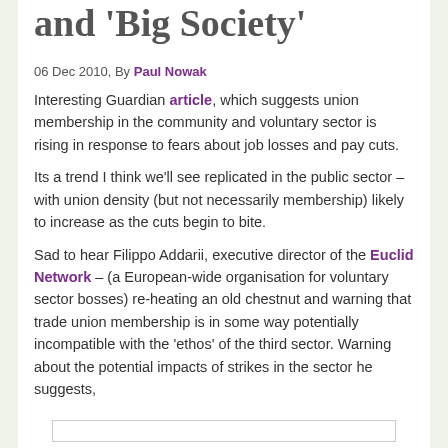and 'Big Society'
06 Dec 2010, By Paul Nowak
Interesting Guardian article, which suggests union membership in the community and voluntary sector is rising in response to fears about job losses and pay cuts.
Its a trend I think we'll see replicated in the public sector – with union density (but not necessarily membership) likely to increase as the cuts begin to bite.
Sad to hear Filippo Addarii, executive director of the Euclid Network – (a European-wide organisation for voluntary sector bosses) re-heating an old chestnut and warning that trade union membership is in some way potentially incompatible with the 'ethos' of the third sector. Warning about the potential impacts of strikes in the sector he suggests,